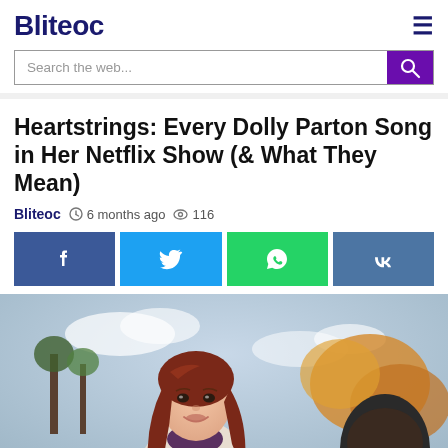Bliteoc
Search the web...
Heartstrings: Every Dolly Parton Song in Her Netflix Show (& What They Mean)
Bliteoc  6 months ago  116
[Figure (other): Social share buttons: Facebook, Twitter, WhatsApp, VK]
[Figure (photo): A young woman with long auburn hair smiling outdoors, from the Netflix show Heartstrings]